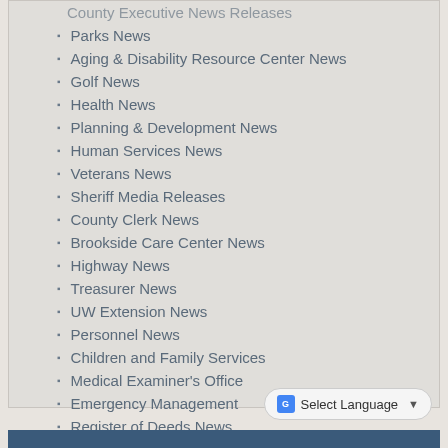County Executive News Releases
Parks News
Aging & Disability Resource Center News
Golf News
Health News
Planning & Development News
Human Services News
Veterans News
Sheriff Media Releases
County Clerk News
Brookside Care Center News
Highway News
Treasurer News
UW Extension News
Personnel News
Children and Family Services
Medical Examiner's Office
Emergency Management
Register of Deeds News